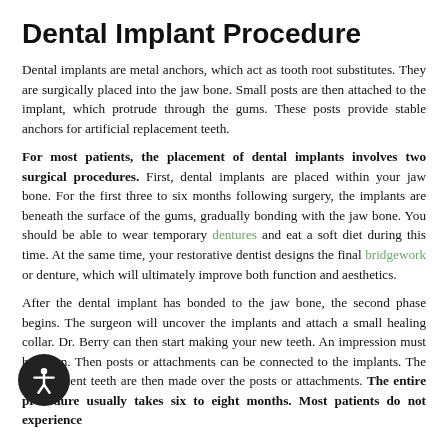Dental Implant Procedure
Dental implants are metal anchors, which act as tooth root substitutes. They are surgically placed into the jaw bone. Small posts are then attached to the implant, which protrude through the gums. These posts provide stable anchors for artificial replacement teeth.
For most patients, the placement of dental implants involves two surgical procedures. First, dental implants are placed within your jaw bone. For the first three to six months following surgery, the implants are beneath the surface of the gums, gradually bonding with the jaw bone. You should be able to wear temporary dentures and eat a soft diet during this time. At the same time, your restorative dentist designs the final bridgework or denture, which will ultimately improve both function and aesthetics.
After the dental implant has bonded to the jaw bone, the second phase begins. The surgeon will uncover the implants and attach a small healing collar. Dr. Berry can then start making your new teeth. An impression must be taken. Then posts or attachments can be connected to the implants. The replacement teeth are then made over the posts or attachments. The entire procedure usually takes six to eight months. Most patients do not experience